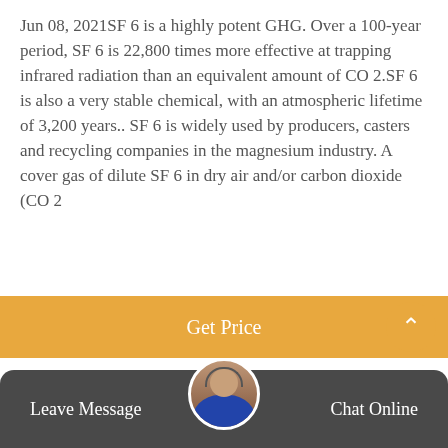Jun 08, 2021SF 6 is a highly potent GHG. Over a 100-year period, SF 6 is 22,800 times more effective at trapping infrared radiation than an equivalent amount of CO 2.SF 6 is also a very stable chemical, with an atmospheric lifetime of 3,200 years.. SF 6 is widely used by producers, casters and recycling companies in the magnesium industry. A cover gas of dilute SF 6 in dry air and/or carbon dioxide (CO 2
[Figure (other): Button labeled Get Price with orange background]
[Figure (photo): Photo of construction/industrial scene showing yellow equipment arm, large grey panel being lifted, worker in hard hat, trees in background]
Leave Message   Chat Online